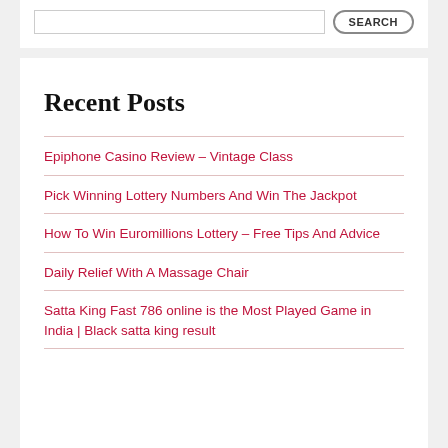Recent Posts
Epiphone Casino Review – Vintage Class
Pick Winning Lottery Numbers And Win The Jackpot
How To Win Euromillions Lottery – Free Tips And Advice
Daily Relief With A Massage Chair
Satta King Fast 786 online is the Most Played Game in India | Black satta king result